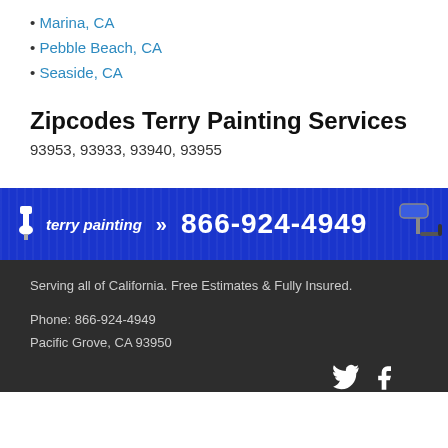Marina, CA
Pebble Beach, CA
Seaside, CA
Zipcodes Terry Painting Services
93953, 93933, 93940, 93955
[Figure (logo): Terry Painting banner with paint roller graphic showing logo, arrows, and phone number 866-924-4949 on blue background]
Serving all of California. Free Estimates & Fully Insured.
Phone: 866-924-4949
Pacific Grove, CA 93950
[Figure (illustration): Social media icons: Twitter bird and Facebook f on dark footer background]